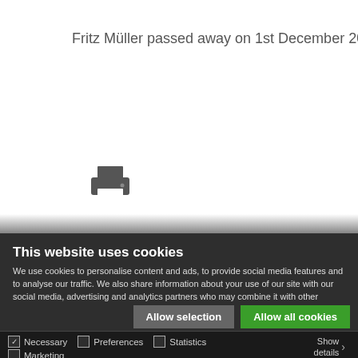Fritz Müller passed away on 1st December 2021. We will c
[Figure (illustration): Printer icon in dark gray]
This website uses cookies
We use cookies to personalise content and ads, to provide social media features and to analyse our traffic. We also share information about your use of our site with our social media, advertising and analytics partners who may combine it with other information that you've provided to them or that they've collected from your use of their services. Please find our information on data protection here.
Allow selection  Allow all cookies
Necessary  Preferences  Statistics  Marketing  Show details